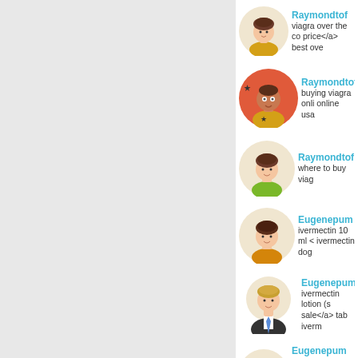[Figure (illustration): User avatar - male with brown hair, yellow shirt, beige background circle]
Raymondtof
viagra over the co price</a> best ove
[Figure (illustration): User avatar - child with red background circle, yellow shirt, star badge]
Raymondtof
buying viagra onli online usa
[Figure (illustration): User avatar - male with brown hair, green shirt, beige background circle]
Raymondtof
where to buy viag
[Figure (illustration): User avatar - male with dark brown hair, yellow/orange shirt, beige background circle]
Eugenepum
ivermectin 10 ml < ivermectin dog
[Figure (illustration): User avatar - male with blonde hair, suit and blue tie, beige background circle]
Eugenepum
ivermectin lotion (s sale</a> tab iverm
[Figure (illustration): User avatar - male with dark brown hair, beige background circle (partial)]
Eugenepum
stromectol for sale